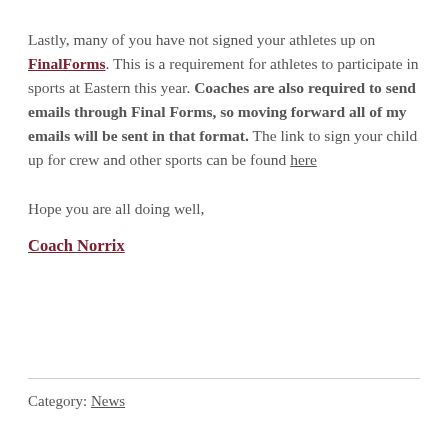Lastly, many of you have not signed your athletes up on FinalForms. This is a requirement for athletes to participate in sports at Eastern this year. Coaches are also required to send emails through Final Forms, so moving forward all of my emails will be sent in that format. The link to sign your child up for crew and other sports can be found here
Hope you are all doing well,
Coach Norrix
Category: News